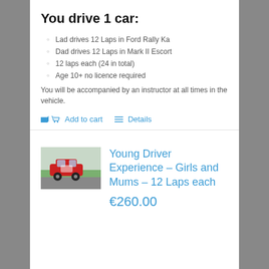You drive 1 car:
Lad drives 12 Laps in Ford Rally Ka
Dad drives 12 Laps in Mark II Escort
12 laps each (24 in total)
Age 10+ no licence required
You will be accompanied by an instructor at all times in the vehicle.
Add to cart   Details
[Figure (photo): Red rally car driving on a track with green fields in the background]
Young Driver Experience – Girls and Mums – 12 Laps each
€260.00